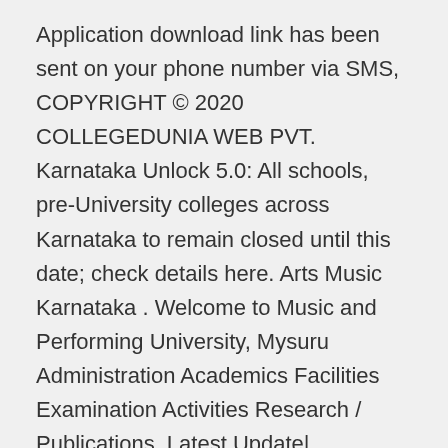Application download link has been sent on your phone number via SMS, COPYRIGHT © 2020 COLLEGEDUNIA WEB PVT. Karnataka Unlock 5.0: All schools, pre-University colleges across Karnataka to remain closed until this date; check details here. Arts Music Karnataka . Welcome to Music and Performing University, Mysuru Administration Academics Facilities Examination Activities Research / Publications. Latest Update| Karnataka College Reopening 2020: Govt may begin offline UG classes in November - Deputy CM Ashwath Narayan International students looking to get a degree in Karnataka can choose from a diverse range of programs and diplomas and obtain their Bachelor's, Master's, PhDs (or MBAs) from some of the top-rated institutions. BVB) The Jain University Trust is managed by ... Eastern Fare Music Foundation, Bangalore. Authentic student reviews helped me compare colleges easily. (Music) Colleges in Karnataka, list of